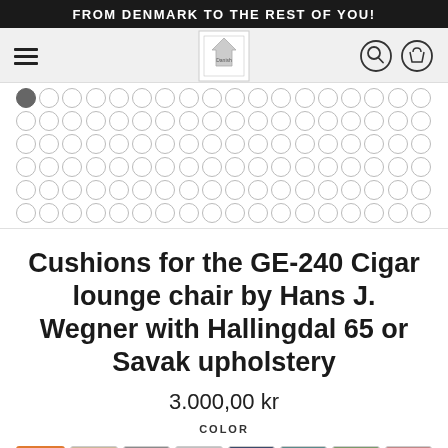FROM DENMARK TO THE REST OF YOU!
[Figure (other): Website navigation bar with hamburger menu, logo, search and cart icons]
[Figure (other): Color swatch selection grid with circular swatches, first swatch selected]
Cushions for the GE-240 Cigar lounge chair by Hans J. Wegner with Hallingdal 65 or Savak upholstery
3.000,00 kr
COLOR
[Figure (other): Bottom row of color swatches for upholstery selection]